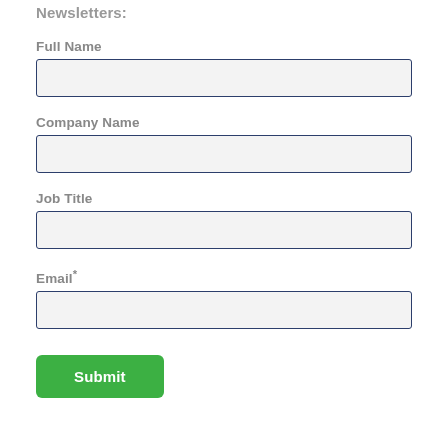Newsletters:
Full Name
Company Name
Job Title
Email*
Submit